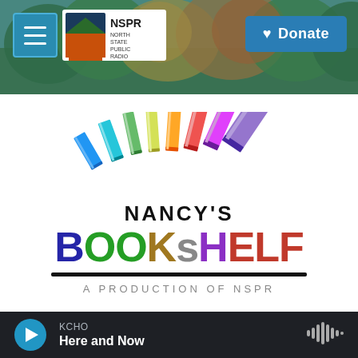[Figure (screenshot): NSPR North State Public Radio website header with navigation menu button, NSPR logo, and Donate button, over a nature/forest background photo]
[Figure (logo): Nancy's Bookshelf logo: colorful rainbow books illustration above text 'NANCY'S BOOKSHELF A PRODUCTION OF NSPR']
KCHO Here and Now